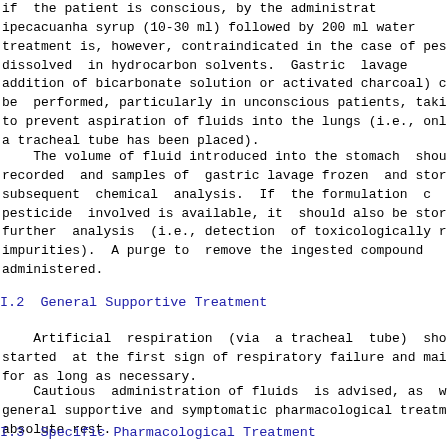if  the patient is conscious, by the administrat ipecacuanha syrup (10-30 ml) followed by 200 ml water treatment is, however, contraindicated in the case of pes dissolved  in hydrocarbon solvents.  Gastric  lavage addition of bicarbonate solution or activated charcoal) c be  performed, particularly in unconscious patients, taki to prevent aspiration of fluids into the lungs (i.e., onl a tracheal tube has been placed).
The volume of fluid introduced into the stomach  shou recorded  and samples of  gastric lavage frozen  and stor subsequent  chemical  analysis.  If  the formulation  c pesticide  involved is available, it  should also be stor further  analysis  (i.e., detection  of toxicologically r impurities).  A purge to  remove the ingested compound administered.
I.2  General Supportive Treatment
Artificial  respiration  (via  a tracheal  tube)  sho started  at the first sign of respiratory failure and mai for as long as necessary.
Cautious  administration of fluids  is advised, as  w general supportive and symptomatic pharmacological treatm absolute rest.
I.3  Specific Pharmacological Treatment